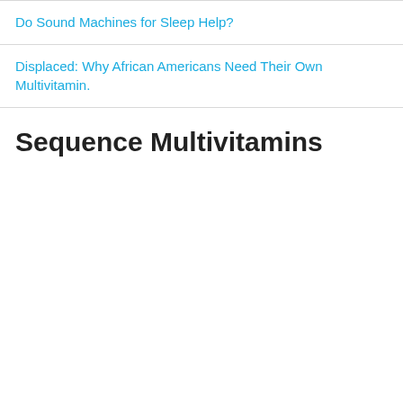Do Sound Machines for Sleep Help?
Displaced: Why African Americans Need Their Own Multivitamin.
Sequence Multivitamins